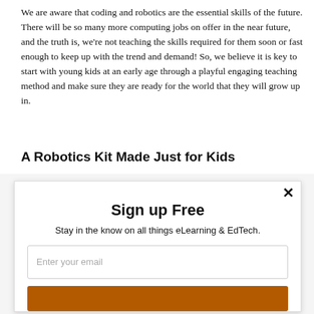We are aware that coding and robotics are the essential skills of the future. There will be so many more computing jobs on offer in the near future, and the truth is, we're not teaching the skills required for them soon or fast enough to keep up with the trend and demand! So, we believe it is key to start with young kids at an early age through a playful engaging teaching method and make sure they are ready for the world that they will grow up in.
A Robotics Kit Made Just for Kids
Sign up Free
Stay in the know on all things eLearning & EdTech.
Enter your email